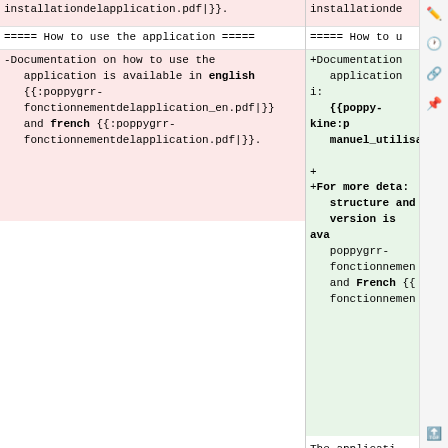installationdelapplication.pdf|}}.
===== How to use the application ===== ===== How to u
-Documentation on how to use the application is available in english {{:poppygrr-fonctionnementdelapplication_en.pdf|}} and french {{:poppygrr-fonctionnementdelapplication.pdf|}}.
+Documentation on how to use the application is available in {{poppy-kine:p manuel_utilisa
+
+For more deta: structure and version is ava poppygrr-fonctionnemen and French {{ fonctionnemen
The application works only with the new version of the Poppy robot which has a Rasberry Pi 3 instead of an odroid xu 4. As the ethernet port is not available, the connexion to the Rasberry Pi is done using Wifi.
The applicati new version o has a Rasberry odroid xu 4. A not available, Rasberry Pi i
Line 19:
Line 21: